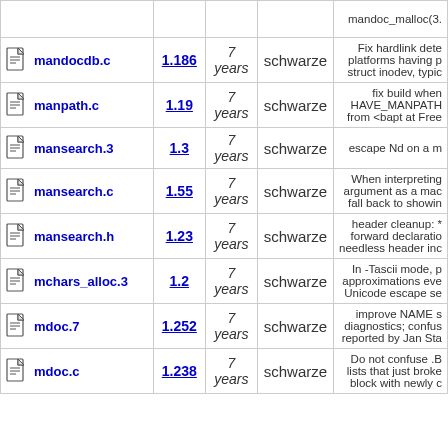| File | Rev. | Age | Author | Log message |
| --- | --- | --- | --- | --- |
| [icon] mandocdb.c | 1.186 | 7 years | schwarze | Fix hardlink dete platforms having p struct inodev, typic |
| [icon] manpath.c | 1.19 | 7 years | schwarze | fix build when HAVE_MANPATH from <bapt at Free |
| [icon] mansearch.3 | 1.3 | 7 years | schwarze | escape Nd on a m |
| [icon] mansearch.c | 1.55 | 7 years | schwarze | When interpreting argument as a mac fall back to showin |
| [icon] mansearch.h | 1.23 | 7 years | schwarze | header cleanup: * forward declaratio needless header inc |
| [icon] mchars_alloc.3 | 1.2 | 7 years | schwarze | In -Tascii mode, p approximations eve Unicode escape se |
| [icon] mdoc.7 | 1.252 | 7 years | schwarze | improve NAME s diagnostics; confus reported by Jan Sta |
| [icon] mdoc.c | 1.238 | 7 years | schwarze | Do not confuse .B lists that just broke block with newly c |